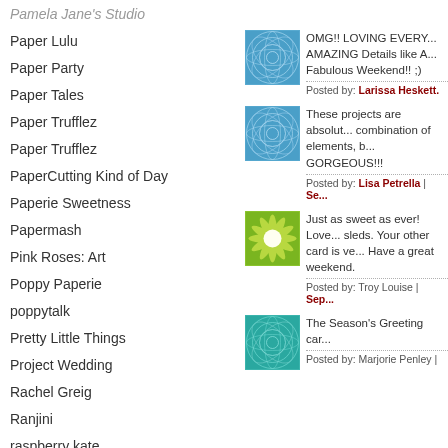Pamela Jane's Studio
Paper Lulu
Paper Party
Paper Tales
Paper Trufflez
Paper Trufflez
PaperCutting Kind of Day
Paperie Sweetness
Papermash
Pink Roses: Art
Poppy Paperie
poppytalk
Pretty Little Things
Project Wedding
Rachel Greig
Ranjini
raspberry kate
Renee Lamb
Retro Whimsy Creations
[Figure (illustration): Blue decorative tile with circular geometric pattern]
OMG!! LOVING EVERY... AMAZING Details like A... Fabulous Weekend!! ;)
Posted by: Larissa Heskett.
[Figure (illustration): Blue decorative tile with circular geometric pattern]
These projects are absolut... combination of elements, b... GORGEOUS!!!
Posted by: Lisa Petrella | Se...
[Figure (illustration): Green/yellow decorative tile with floral starburst pattern]
Just as sweet as ever! Love... sleds. Your other card is ve... Have a great weekend.
Posted by: Troy Louise | Sep...
[Figure (illustration): Teal/turquoise decorative tile with circular geometric pattern]
The Season's Greeting car...
Posted by: Marjorie Penley |